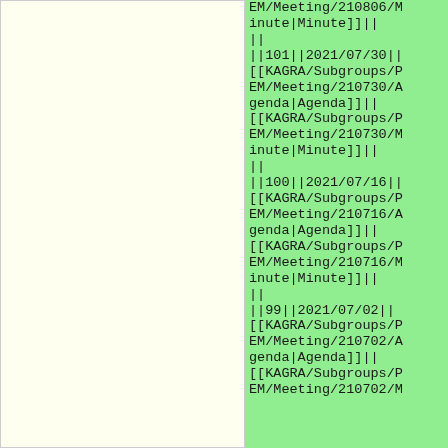EM/Meeting/210806/Minute|Minute]]]|
||
||101||2021/07/30||[[KAGRA/Subgroups/PEM/Meeting/210730/Agenda|Agenda]]||[[KAGRA/Subgroups/PEM/Meeting/210730/Minute|Minute]]||
||
||100||2021/07/16||[[KAGRA/Subgroups/PEM/Meeting/210716/Agenda|Agenda]]||[[KAGRA/Subgroups/PEM/Meeting/210716/Minute|Minute]]||
||
||99||2021/07/02||[[KAGRA/Subgroups/PEM/Meeting/210702/Agenda|Agenda]]||[[KAGRA/Subgroups/PEM/Meeting/210702/M